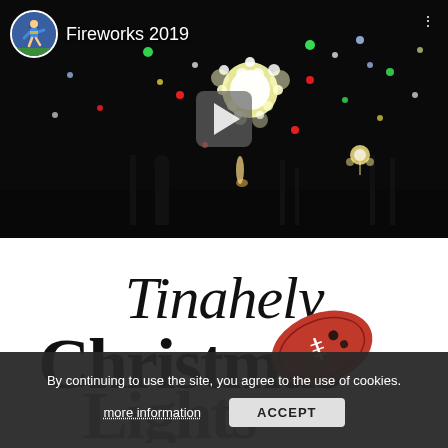[Figure (screenshot): Video thumbnail of fireworks at night (2019), with a play button overlay, a rugby player avatar circle in top-left, and the title 'Fireworks 2019'.]
Fireworks 2019
[Figure (logo): Tinahely Christmas Lights logo with decorative serif text and a red rugby ball graphic.]
By continuing to use the site, you agree to the use of cookies.
more information
ACCEPT